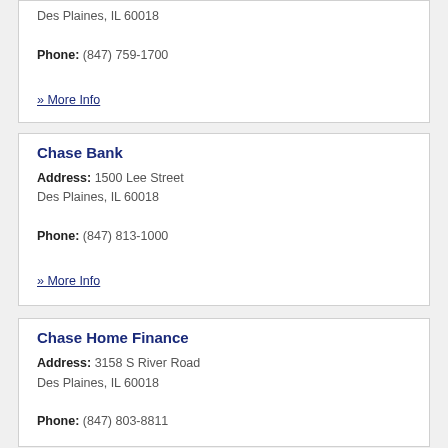Des Plaines, IL 60018
Phone: (847) 759-1700
» More Info
Chase Bank
Address: 1500 Lee Street
Des Plaines, IL 60018
Phone: (847) 813-1000
» More Info
Chase Home Finance
Address: 3158 S River Road
Des Plaines, IL 60018
Phone: (847) 803-8811